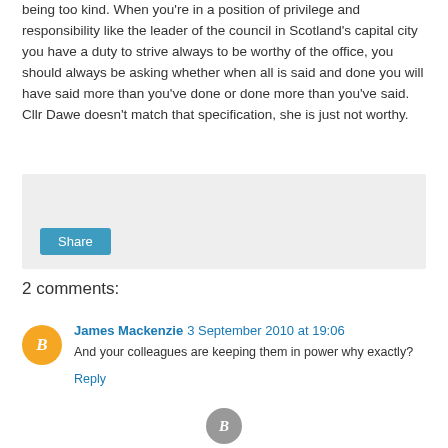being too kind. When you're in a position of privilege and responsibility like the leader of the council in Scotland's capital city you have a duty to strive always to be worthy of the office, you should always be asking whether when all is said and done you will have said more than you've done or done more than you've said. Cllr Dawe doesn't match that specification, she is just not worthy.
Share
2 comments:
James Mackenzie  3 September 2010 at 19:06
And your colleagues are keeping them in power why exactly?
Reply